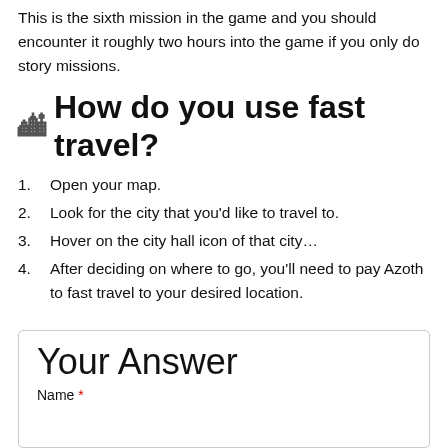This is the sixth mission in the game and you should encounter it roughly two hours into the game if you only do story missions.
🏙 How do you use fast travel?
1. Open your map.
2. Look for the city that you'd like to travel to.
3. Hover on the city hall icon of that city…
4. After deciding on where to go, you'll need to pay Azoth to fast travel to your desired location.
Your Answer
Name *